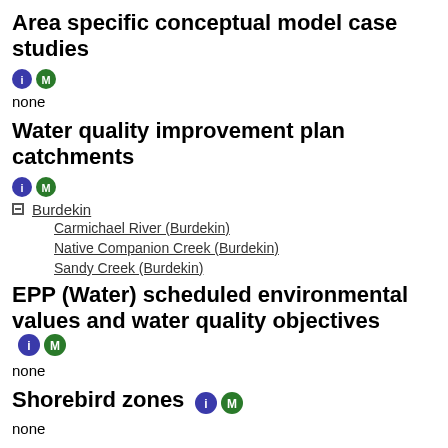Area specific conceptual model case studies
[Figure (infographic): Info icon (blue circle with i) and M icon (green circle with M)]
none
Water quality improvement plan catchments
[Figure (infographic): Info icon (blue circle with i) and M icon (green circle with M)]
Burdekin
Carmichael River (Burdekin)
Native Companion Creek (Burdekin)
Sandy Creek (Burdekin)
EPP (Water) scheduled environmental values and water quality objectives
[Figure (infographic): Info icon (blue circle with i) and M icon (green circle with M)]
none
Shorebird zones
[Figure (infographic): Info icon (blue circle with i) and M icon (green circle with M)]
none